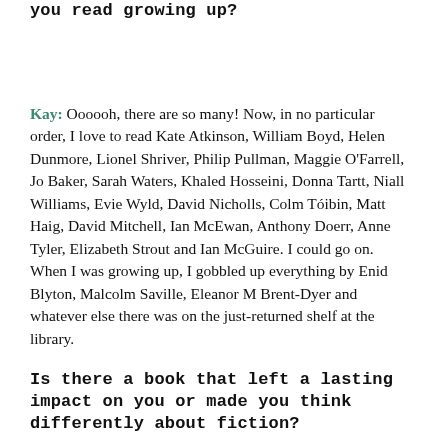you read growing up?
Kay: Oooooh, there are so many! Now, in no particular order, I love to read Kate Atkinson, William Boyd, Helen Dunmore, Lionel Shriver, Philip Pullman, Maggie O'Farrell, Jo Baker, Sarah Waters, Khaled Hosseini, Donna Tartt, Niall Williams, Evie Wyld, David Nicholls, Colm Tóibin, Matt Haig, David Mitchell, Ian McEwan, Anthony Doerr, Anne Tyler, Elizabeth Strout and Ian McGuire. I could go on.
When I was growing up, I gobbled up everything by Enid Blyton, Malcolm Saville, Eleanor M Brent-Dyer and whatever else there was on the just-returned shelf at the library.
Is there a book that left a lasting impact on you or made you think differently about fiction?